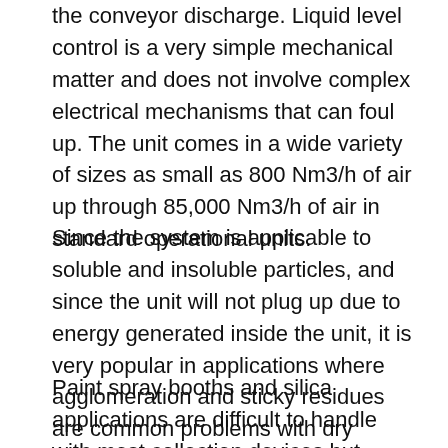the conveyor discharge. Liquid level control is a very simple mechanical matter and does not involve complex electrical mechanisms that can foul up. The unit comes in a wide variety of sizes as small as 800 Nm3/h of air up through 85,000 Nm3/h of air in standard operational units.
Since the system is applicable to soluble and insoluble particles, and since the unit will not plug up due to energy generated inside the unit, it is very popular in applications where agglomeration and sticky residues are common problems with dry collectors or lower energy wet collectors.
Paint spray booths and silica applications are difficult to handle with most collection devices but easily handled with this unit. The Whirl Wet unit operates most efficiently under these conditions